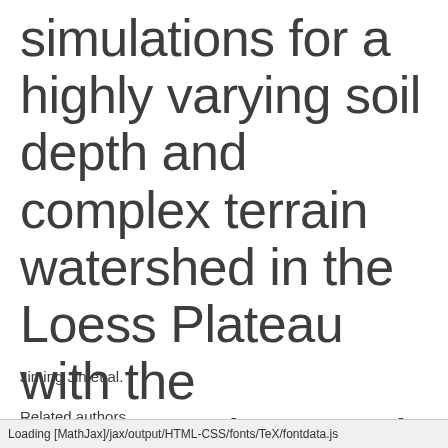simulations for a highly varying soil depth and complex terrain watershed in the Loess Plateau with the Community Land Model version 5
Jiming Jin et al.
Related authors
Loading [MathJax]/jax/output/HTML-CSS/fonts/TeX/fontdata.js